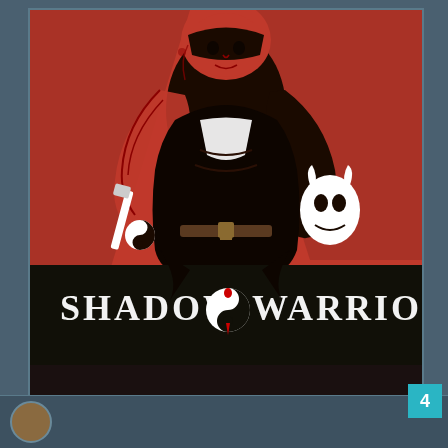[Figure (illustration): Shadow Warrior video game cover art showing a stylized warrior figure in red and black with tattoos, holding a weapon, with the 'SHADOW WARRIOR' logo at the bottom featuring a yin-yang symbol with a blood drop]
4